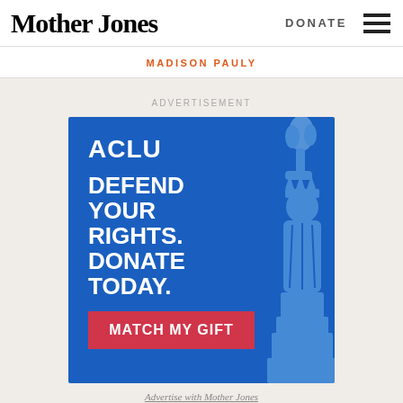Mother Jones | DONATE
MADISON PAULY
ADVERTISEMENT
[Figure (illustration): ACLU advertisement: blue banner with 'ACLU' logo, 'DEFEND YOUR RIGHTS. DONATE TODAY.' headline, 'MATCH MY GIFT' red button, and Statue of Liberty torch graphic on the right side.]
Advertise with Mother Jones